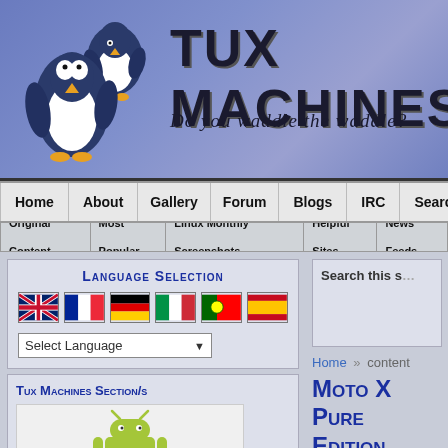[Figure (screenshot): Tux Machines website header banner with two penguin logos on the left, large bold title 'TUX MACHINES' on blue/purple gradient background, subtitle 'Do you waddle the waddle?']
Home | About | Gallery | Forum | Blogs | IRC | Search
Original Content | Most Popular | Linux Monthly Screenshots | Helpful Sites | News Feeds
Language Selection
[Figure (screenshot): Language selection flags: UK, France, Germany, Italy, Portugal, Spain]
Select Language
Tux Machines Section/s
[Figure (logo): Android robot logo with 'android' text below]
Android
Home » content
Moto X Pure Edition Review: This Phone Does Android B...